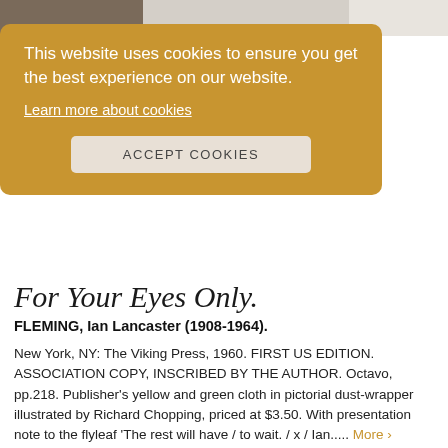[Figure (screenshot): Top portion of a book listing page with a partial image of book covers visible at the top]
This website uses cookies to ensure you get the best experience on our website. Learn more about cookies ACCEPT COOKIES
For Your Eyes Only.
FLEMING, Ian Lancaster (1908-1964).
New York, NY: The Viking Press, 1960. FIRST US EDITION. ASSOCIATION COPY, INSCRIBED BY THE AUTHOR. Octavo, pp.218. Publisher's yellow and green cloth in pictorial dust-wrapper illustrated by Richard Chopping, priced at $3.50. With presentation note to the flyleaf 'The rest will have / to wait. / x / Ian..... More ›
ADD TO BASKET
Price: £16,500.00
Item Details